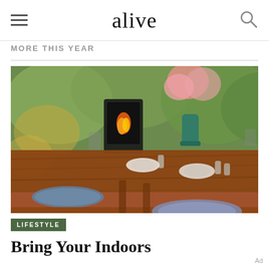alive
MORE THIS YEAR
[Figure (photo): Outdoor wooden dining table set with plates, glasses, and a vase of pink flowers, with a fire pit and lush green garden in the background]
LIFESTYLE
Bring Your Indoors